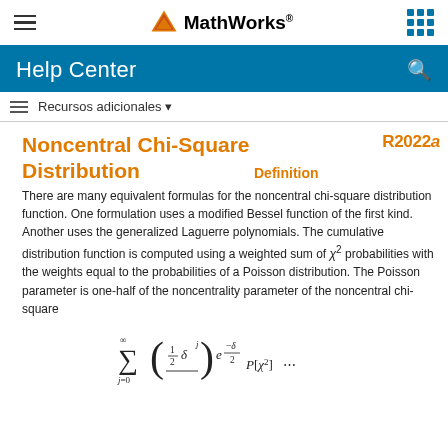MathWorks Help Center
Recursos adicionales
Noncentral Chi-Square Distribution
R2022a
Definition
There are many equivalent formulas for the noncentral chi-square distribution function. One formulation uses a modified Bessel function of the first kind. Another uses the generalized Laguerre polynomials. The cumulative distribution function is computed using a weighted sum of χ² probabilities with the weights equal to the probabilities of a Poisson distribution. The Poisson parameter is one-half of the noncentrality parameter of the noncentral chi-square